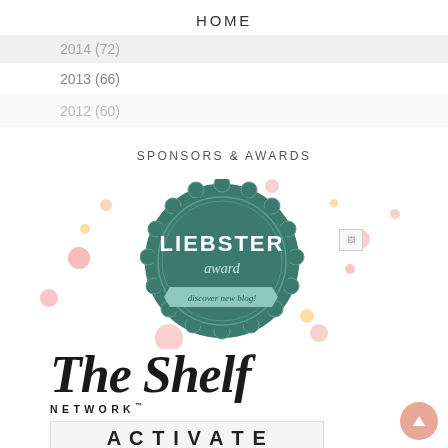HOME
2014 (72)
2013 (66)
2012 (60)
SPONSORS & AWARDS
[Figure (logo): Liebster Award badge - teal/green scalloped circular badge with 'LIEBSTER award' text and 'discover new blogs!' banner, surrounded by colorful confetti dots]
[Figure (logo): The Shelf Network logo - large serif bold text 'The Shelf' with 'NETWORK' in spaced caps below]
[Figure (other): Partially visible 'ACTIVATE' text at bottom, appears to be a banner or button]